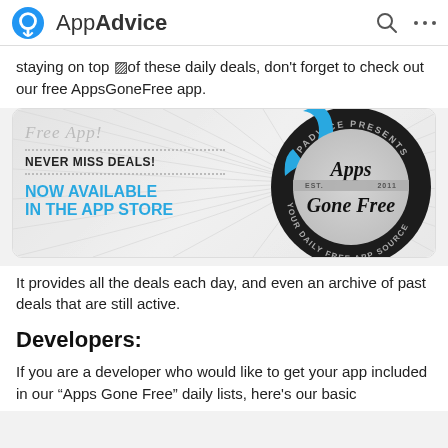AppAdvice
staying on top �of these daily deals, don't forget to check out our free AppsGoneFree app.
[Figure (logo): Apps Gone Free badge/logo with blue arrow. Left side shows 'Free App!' script text, 'NEVER MISS DEALS!', 'NOW AVAILABLE IN THE APP STORE'. Right side shows circular badge: APPADVICE PRESENTS, Apps Gone Free, EST. 2011, YOUR DAILY FREE APP SOURCE.]
It provides all the deals each day, and even an archive of past deals that are still active.
Developers:
If you are a developer who would like to get your app included in our "Apps Gone Free" daily lists, here's our basic